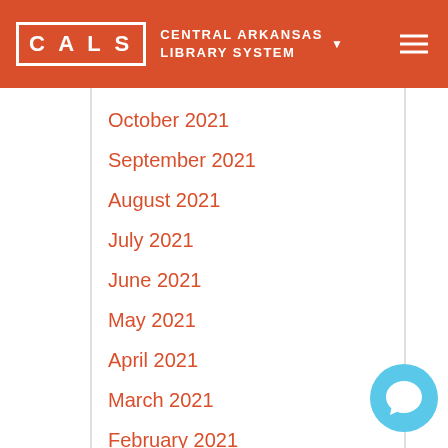CALS — CENTRAL ARKANSAS LIBRARY SYSTEM
October 2021
September 2021
August 2021
July 2021
June 2021
May 2021
April 2021
March 2021
February 2021
January 2021
December 2020
November 2020
October 2020
September 2020
August 2020